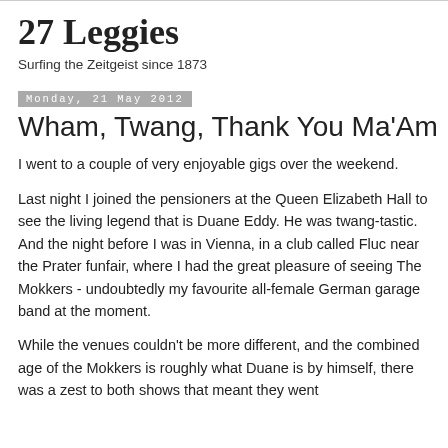27 Leggies
Surfing the Zeitgeist since 1873
Monday, 21 May 2012
Wham, Twang, Thank You Ma'Am
I went to a couple of very enjoyable gigs over the weekend.
Last night I joined the pensioners at the Queen Elizabeth Hall to see the living legend that is Duane Eddy. He was twang-tastic. And the night before I was in Vienna, in a club called Fluc near the Prater funfair, where I had the great pleasure of seeing The Mokkers - undoubtedly my favourite all-female German garage band at the moment.
While the venues couldn't be more different, and the combined age of the Mokkers is roughly what Duane is by himself, there was a zest to both shows that meant they went